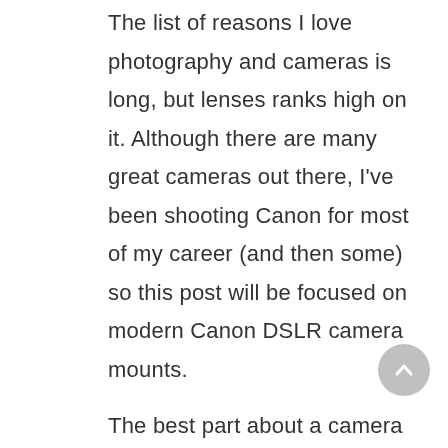The list of reasons I love photography and cameras is long, but lenses ranks high on it. Although there are many great cameras out there, I've been shooting Canon for most of my career (and then some) so this post will be focused on modern Canon DSLR camera mounts.
The best part about a camera with interchangeable lenses: it allows you to truly customize the camera to suit yours and the subject's needs. Taking